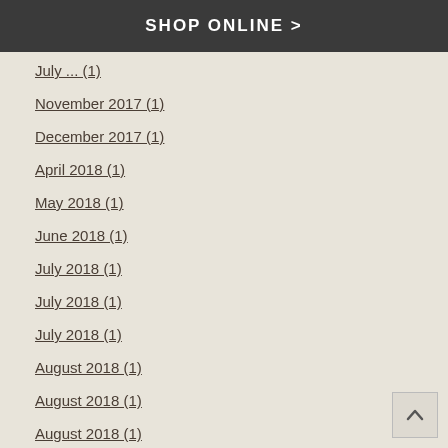SHOP ONLINE >
July ... (1)
November 2017 (1)
December 2017 (1)
April 2018 (1)
May 2018 (1)
June 2018 (1)
July 2018 (1)
July 2018 (1)
July 2018 (1)
August 2018 (1)
August 2018 (1)
August 2018 (1)